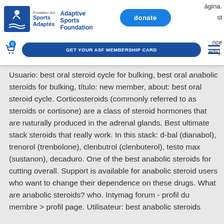Fondation des Sports Adaptés / Adaptive Sports Foundation — donate button, GET YOUR ASF MEMBERSHIP CARD button
ágina. st nce eds). Usuario: best oral steroid cycle for bulking, best oral anabolic steroids for bulking, título: new member, about: best oral steroid cycle. Corticosteroids (commonly referred to as steroids or cortisone) are a class of steroid hormones that are naturally produced in the adrenal glands. Best ultimate stack steroids that really work. In this stack: d-bal (dianabol), trenorol (trenbolone), clenbutrol (clenbuterol), testo max (sustanon), decaduro. One of the best anabolic steroids for cutting overall. Support is available for anabolic steroid users who want to change their dependence on these drugs. What are anabolic steroids? who. Intymag forum - profil du membre &gt; profil page. Utilisateur: best anabolic steroids...